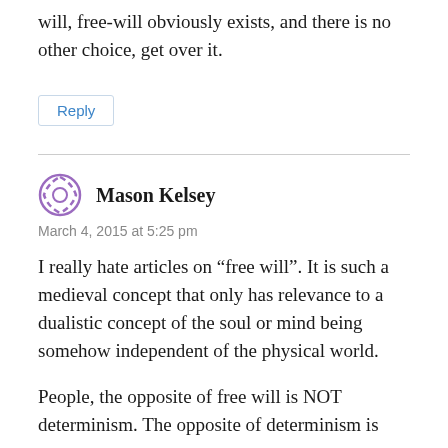will, free-will obviously exists, and there is no other choice, get over it.
Reply
Mason Kelsey
March 4, 2015 at 5:25 pm
I really hate articles on “free will”. It is such a medieval concept that only has relevance to a dualistic concept of the soul or mind being somehow independent of the physical world.
People, the opposite of free will is NOT determinism. The opposite of determinism is